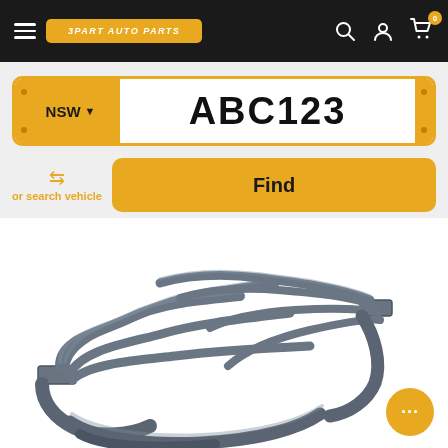3PART AUTO PARTS — navigation bar with hamburger menu, logo, search icon, account icon, cart (0)
NSW ▼
ABC123
or search vehicle
Find
[Figure (photo): Pair of grey/blue metal exhaust headers (engine header pipes) on white background]